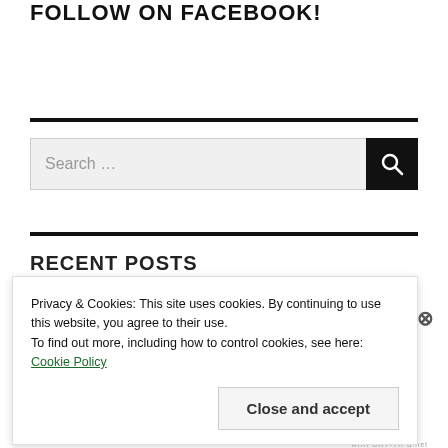FOLLOW ON FACEBOOK!
[Figure (other): Search widget with input field and search button]
RECENT POSTS
Privacy & Cookies: This site uses cookies. By continuing to use this website, you agree to their use.
To find out more, including how to control cookies, see here: Cookie Policy
Close and accept